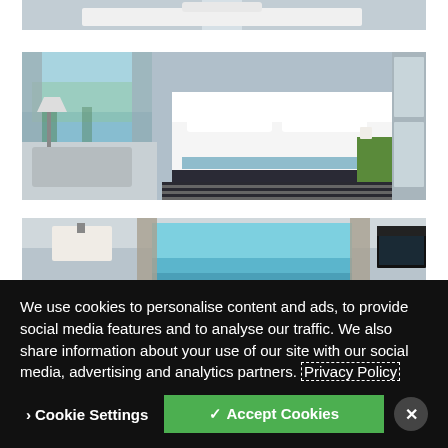[Figure (photo): Top portion of a hotel room with white bedding and white vases visible, cropped at top of page]
[Figure (photo): Hotel room with large bed with white linens and light blue runner, striped carpet, floor-to-ceiling windows with ocean/city view, green bedside table, decorative lamp and chair]
[Figure (photo): Hotel suite living area with large floor-to-ceiling windows overlooking ocean, curtains, lamp, patterned seating, wall-mounted TV]
We use cookies to personalise content and ads, to provide social media features and to analyse our traffic. We also share information about your use of our site with our social media, advertising and analytics partners. Privacy Policy
Cookie Settings | ✓ Accept Cookies | ×